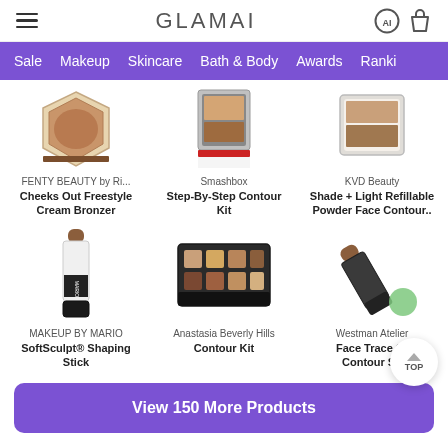GLAMAI
Sale  Makeup  Skincare  Bath & Body  Awards  Ranki...
FENTY BEAUTY by Ri... | Cheeks Out Freestyle Cream Bronzer
Smashbox | Step-By-Step Contour Kit
KVD Beauty | Shade + Light Refillable Powder Face Contour..
MAKEUP BY MARIO | SoftSculpt® Shaping Stick
Anastasia Beverly Hills | Contour Kit
Westman Atelier | Face Trace Cr Contour Sti
View 150 More Products